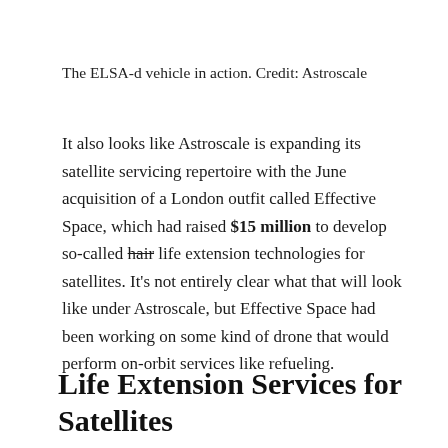The ELSA-d vehicle in action. Credit: Astroscale
It also looks like Astroscale is expanding its satellite servicing repertoire with the June acquisition of a London outfit called Effective Space, which had raised $15 million to develop so-called hair life extension technologies for satellites. It’s not entirely clear what that will look like under Astroscale, but Effective Space had been working on some kind of drone that would perform on-orbit services like refueling.
Life Extension Services for Satellites